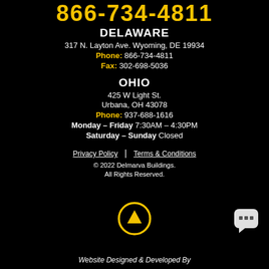866-734-4811
DELAWARE
317 N. Layton Ave. Wyoming, DE 19934
Phone: 866-734-4811
Fax: 302-698-5036
OHIO
425 W Light St.
Urbana, OH 43078
Phone: 937-688-1616
Monday – Friday 7:30AM – 4:30PM
Saturday – Sunday Closed
Privacy Policy | Terms & Conditions
© 2022 Delmarva Buildings. All Rights Reserved.
[Figure (illustration): Yellow circle with upward arrow icon (scroll to top button) and a white chat bubble icon on the right]
Website Designed & Developed By